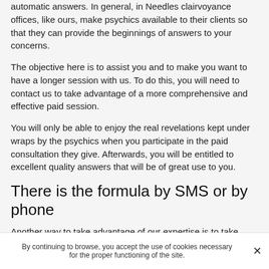automatic answers. In general, in Needles clairvoyance offices, like ours, make psychics available to their clients so that they can provide the beginnings of answers to your concerns.
The objective here is to assist you and to make you want to have a longer session with us. To do this, you will need to contact us to take advantage of a more comprehensive and effective paid session.
You will only be able to enjoy the real revelations kept under wraps by the psychics when you participate in the paid consultation they give. Afterwards, you will be entitled to excellent quality answers that will be of great use to you.
There is the formula by SMS or by phone
Another way to take advantage of our expertise is to take
By continuing to browse, you accept the use of cookies necessary for the proper functioning of the site.